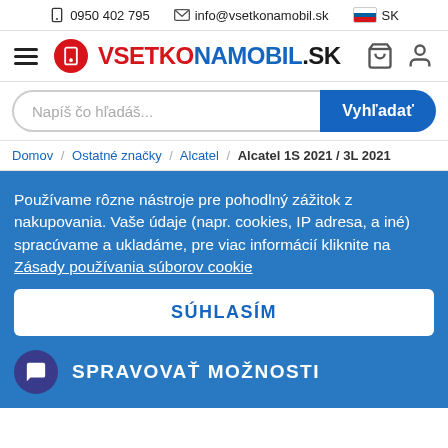0950 402 795  info@vsetkonamobil.sk  SK
[Figure (logo): VsetkoNaMobil.sk logo with red circle phone icon and blue/red text]
Napíš čo hľadáš...  Vyhľadať
Domov / Ostatné značky / Alcatel / Alcatel 1S 2021 / 3L 2021
Používame rôzne nástroje pre pohodlný zážitok z nakupovania. Vaše údaje (napr. cookies, IP adresa, a iné) spracúvame a ukladáme, pre viac informácií kliknite na Zásady používania súborov cookie
SÚHLASÍM
SPRAVOVAŤ MOŽNOSTI